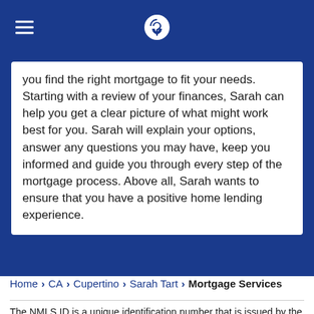Chase logo header with hamburger menu
you find the right mortgage to fit your needs. Starting with a review of your finances, Sarah can help you get a clear picture of what might work best for you. Sarah will explain your options, answer any questions you may have, keep you informed and guide you through every step of the mortgage process. Above all, Sarah wants to ensure that you have a positive home lending experience.
Home > CA > Cupertino > Sarah Tart > Mortgage Services
The NMLS ID is a unique identification number that is issued by the Nationwide Mortgage Licensing System and Registry